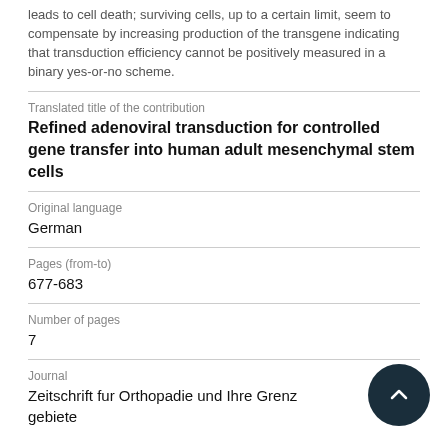leads to cell death; surviving cells, up to a certain limit, seem to compensate by increasing production of the transgene indicating that transduction efficiency cannot be positively measured in a binary yes-or-no scheme.
Translated title of the contribution
Refined adenoviral transduction for controlled gene transfer into human adult mesenchymal stem cells
Original language
German
Pages (from-to)
677-683
Number of pages
7
Journal
Zeitschrift fur Orthopadie und Ihre Grenzgebiete